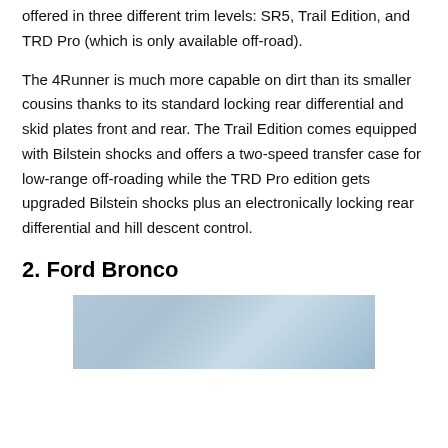offered in three different trim levels: SR5, Trail Edition, and TRD Pro (which is only available off-road).
The 4Runner is much more capable on dirt than its smaller cousins thanks to its standard locking rear differential and skid plates front and rear. The Trail Edition comes equipped with Bilstein shocks and offers a two-speed transfer case for low-range off-roading while the TRD Pro edition gets upgraded Bilstein shocks plus an electronically locking rear differential and hill descent control.
2. Ford Bronco
[Figure (photo): Partial photo of a Ford Bronco vehicle, showing the upper portion of the vehicle against a light sky background]